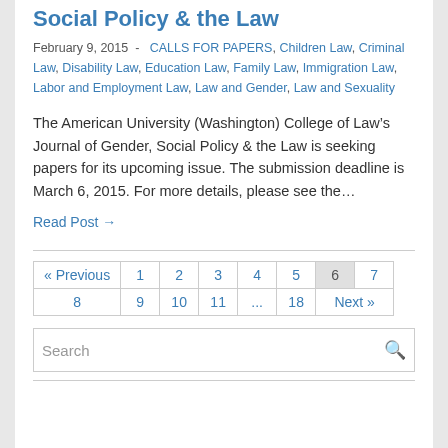Social Policy & the Law
February 9, 2015  -  CALLS FOR PAPERS, Children Law, Criminal Law, Disability Law, Education Law, Family Law, Immigration Law, Labor and Employment Law, Law and Gender, Law and Sexuality
The American University (Washington) College of Law’s Journal of Gender, Social Policy & the Law is seeking papers for its upcoming issue. The submission deadline is March 6, 2015. For more details, please see the…
Read Post →
| « Previous | 1 | 2 | 3 | 4 | 5 | 6 | 7 |
| 8 | 9 | 10 | 11 | ... | 18 | Next » |
Search